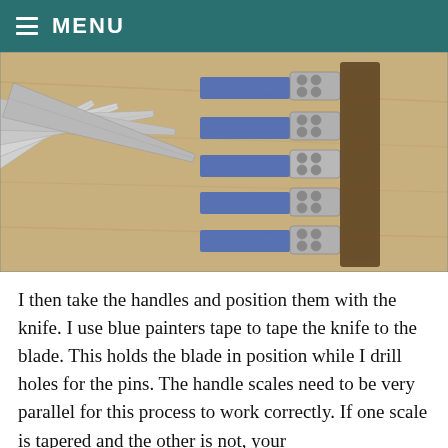MENU
[Figure (photo): Five knife blades arranged fan-like on a wooden surface, with blue painters tape holding metal handle guards/bolsters to each blade. The handles appear to be secured in a wooden jig for drilling pin holes.]
I then take the handles and position them with the knife.  I use blue painters tape to tape the knife to the blade.  This holds the blade in position while I drill holes for the pins.  The handle scales need to be very parallel for this process to work correctly.  If one scale is tapered and the other is not, your